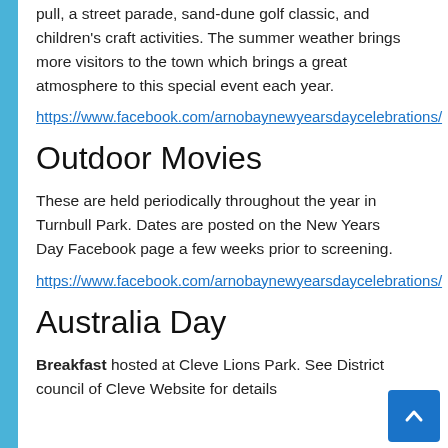pull, a street parade, sand-dune golf classic, and children's craft activities. The summer weather brings more visitors to the town which brings a great atmosphere to this special event each year.
https://www.facebook.com/arnobaynewyearsdaycelebrations/
Outdoor Movies
These are held periodically throughout the year in Turnbull Park. Dates are posted on the New Years Day Facebook page a few weeks prior to screening.
https://www.facebook.com/arnobaynewyearsdaycelebrations/
Australia Day
Breakfast hosted at Cleve Lions Park. See District council of Cleve Website for details